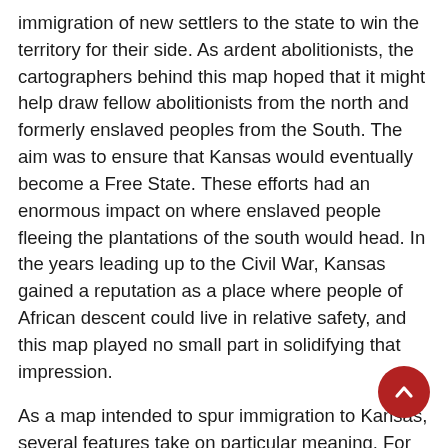immigration of new settlers to the state to win the territory for their side. As ardent abolitionists, the cartographers behind this map hoped that it might help draw fellow abolitionists from the north and formerly enslaved peoples from the South. The aim was to ensure that Kansas would eventually become a Free State. These efforts had an enormous impact on where enslaved people fleeing the plantations of the south would head. In the years leading up to the Civil War, Kansas gained a reputation as a place where people of African descent could live in relative safety, and this map played no small part in solidifying that impression.
As a map intended to spur immigration to Kansas, several features take on particular meaning. For example, areas of the map that have been highlighted with color constitute Indian lands. The reason these particular lands have been so visually well-defined was, of course, to warn new settlers so that they would avoid the regions in which so many bloody confrontations took place. This notion is further echoed by including an inset in the lower-left corner of the map, which provides a more detailed plan of the U.S. Government Reservation that